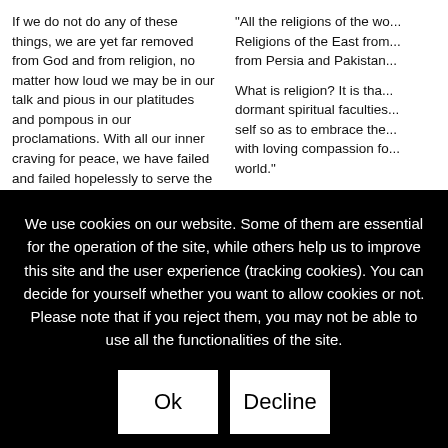If we do not do any of these things, we are yet far removed from God and from religion, no matter how loud we may be in our talk and pious in our platitudes and pompous in our proclamations. With all our inner craving for peace, we have failed and failed hopelessly to serve the cause of God's peace on earth. Ends and means are interlocked things and cannot be separated from each other. We cannot have peace so long as we
“All the religions of the wo... Religions of the East from... from Persia and Pakistan...

What is religion? It is tha... dormant spiritual faculties... self so as to embrace the... with loving compassion fo... world.”
We use cookies on our website. Some of them are essential for the operation of the site, while others help us to improve this site and the user experience (tracking cookies). You can decide for yourself whether you want to allow cookies or not. Please note that if you reject them, you may not be able to use all the functionalities of the site.
Ok
Decline
More information